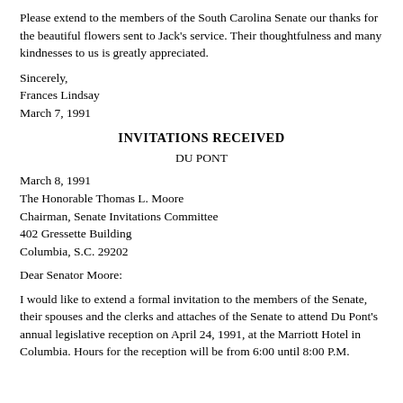Please extend to the members of the South Carolina Senate our thanks for the beautiful flowers sent to Jack's service. Their thoughtfulness and many kindnesses to us is greatly appreciated.
Sincerely,
Frances Lindsay
March 7, 1991
INVITATIONS RECEIVED
DU PONT
March 8, 1991
The Honorable Thomas L. Moore
Chairman, Senate Invitations Committee
402 Gressette Building
Columbia, S.C. 29202
Dear Senator Moore:
I would like to extend a formal invitation to the members of the Senate, their spouses and the clerks and attaches of the Senate to attend Du Pont's annual legislative reception on April 24, 1991, at the Marriott Hotel in Columbia. Hours for the reception will be from 6:00 until 8:00 P.M.